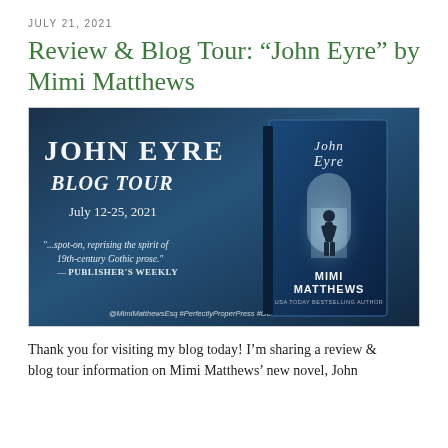JULY 21, 2021
Review & Blog Tour: “John Eyre” by Mimi Matthews
[Figure (illustration): Blog tour promotional banner for 'John Eyre' by Mimi Matthews. Dark blue gothic background with the text 'JOHN EYRE BLOG TOUR July 12-25, 2021' on the left side. A quote reads '...spot-on, reprising the spirit of 19th-century Gothic prose.' — PUBLISHER'S WEEKLY. The right side shows the book cover with a figure standing in a doorway of light. Social handles at the bottom: @MimiMatthewsEsq #PerfectlyProperPress #GothicRomance]
Thank you for visiting my blog today! I’m sharing a review & blog tour information on Mimi Matthews’ new novel, John